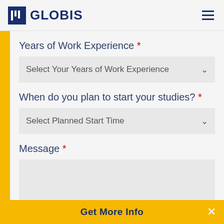GLOBIS
Years of Work Experience *
Select Your Years of Work Experience
When do you plan to start your studies? *
Select Planned Start Time
Message *
Get More Info